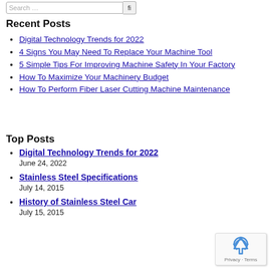Recent Posts
Digital Technology Trends for 2022
4 Signs You May Need To Replace Your Machine Tool
5 Simple Tips For Improving Machine Safety In Your Factory
How To Maximize Your Machinery Budget
How To Perform Fiber Laser Cutting Machine Maintenance
Top Posts
Digital Technology Trends for 2022
June 24, 2022
Stainless Steel Specifications
July 14, 2015
History of Stainless Steel Car
July 15, 2015